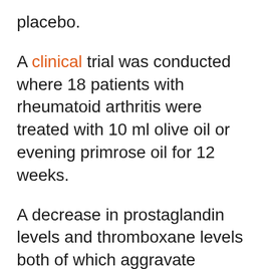placebo.
A clinical trial was conducted where 18 patients with rheumatoid arthritis were treated with 10 ml olive oil or evening primrose oil for 12 weeks.
A decrease in prostaglandin levels and thromboxane levels both of which aggravate inflammation. However, no significant improvement was observed in any group.
Similar results have been proven by Hansen et. al where evening primrose oil supplementation brought about a difference in biochemical parameters but not in